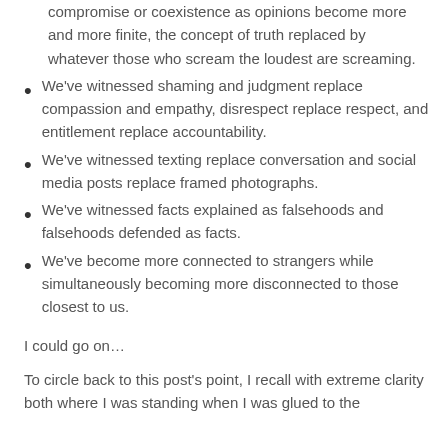split by opposition and discord with no room for compromise or coexistence as opinions become more and more finite, the concept of truth replaced by whatever those who scream the loudest are screaming.
We've witnessed shaming and judgment replace compassion and empathy, disrespect replace respect, and entitlement replace accountability.
We've witnessed texting replace conversation and social media posts replace framed photographs.
We've witnessed facts explained as falsehoods and falsehoods defended as facts.
We've become more connected to strangers while simultaneously becoming more disconnected to those closest to us.
I could go on…
To circle back to this post's point, I recall with extreme clarity both where I was standing when I was glued to the